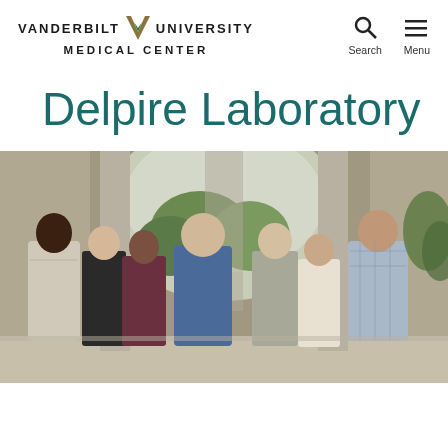VANDERBILT V UNIVERSITY MEDICAL CENTER | Search | Menu
Delpire Laboratory
[Figure (photo): Group photo of seven people (lab members) standing together under an arched outdoor corridor at Vanderbilt University Medical Center. Six appear to be younger lab members and one older person in the center, presumably Dr. Delpire.]